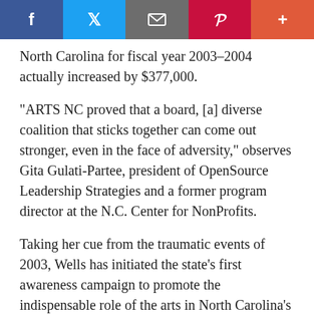[Figure (other): Social media sharing bar with Facebook, Twitter, email/share, Pinterest, and plus buttons]
North Carolina for fiscal year 2003-2004 actually increased by $377,000.
"ARTS NC proved that a board, [a] diverse coalition that sticks together can come out stronger, even in the face of adversity," observes Gita Gulati-Partee, president of OpenSource Leadership Strategies and a former program director at the N.C. Center for NonProfits.
Taking her cue from the traumatic events of 2003, Wells has initiated the state's first awareness campaign to promote the indispensable role of the arts in North Carolina's economy, education and civic health. The collaborative effort involves about 12 organizations representing a range of arts disciplines, among them the North Carolina Arts Council, Dance Alliance, Symphony, Writer's